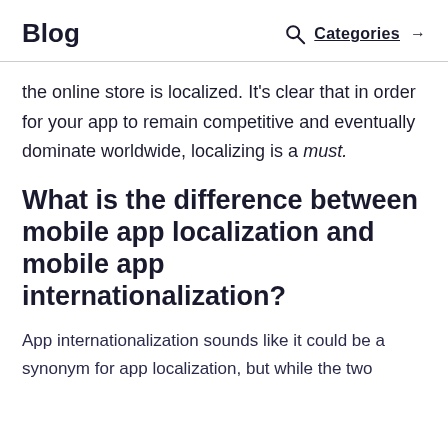Blog  Categories →
the online store is localized. It's clear that in order for your app to remain competitive and eventually dominate worldwide, localizing is a must.
What is the difference between mobile app localization and mobile app internationalization?
App internationalization sounds like it could be a synonym for app localization, but while the two